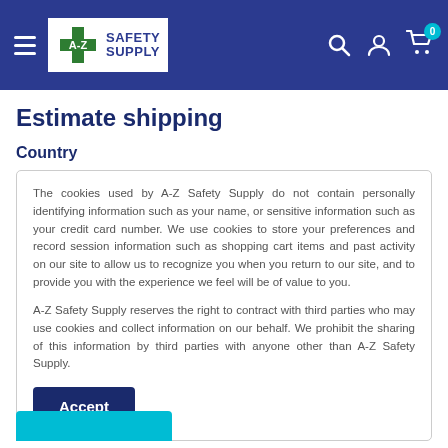A-Z Safety Supply
Estimate shipping
Country
The cookies used by A-Z Safety Supply do not contain personally identifying information such as your name, or sensitive information such as your credit card number.  We use cookies to store your preferences and record session information such as shopping cart items and past activity on our site to allow us to recognize you when you return to our site, and to provide you with the experience we feel will be of value to you.
A-Z Safety Supply reserves the right to contract with third parties who may use cookies and collect information on our behalf. We prohibit the sharing of this information by third parties with anyone other than A-Z Safety Supply.